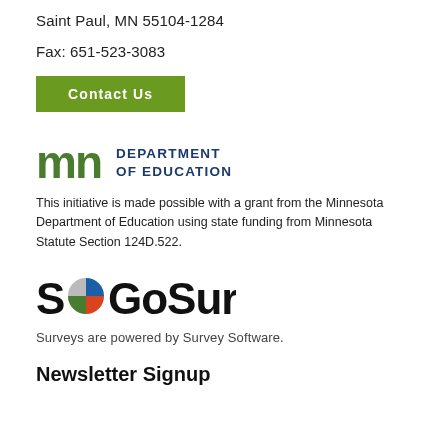Saint Paul, MN 55104-1284
Fax: 651-523-3083
Contact Us
[Figure (logo): Minnesota Department of Education logo with 'mn' mark in green and dark blue, followed by 'DEPARTMENT OF EDUCATION' text in dark blue]
This initiative is made possible with a grant from the Minnesota Department of Education using state funding from Minnesota Statute Section 124D.522.
[Figure (logo): SoGoSurvey logo with multicolor pie-chart icon replacing the 'o' in 'So']
Surveys are powered by Survey Software.
Newsletter Signup